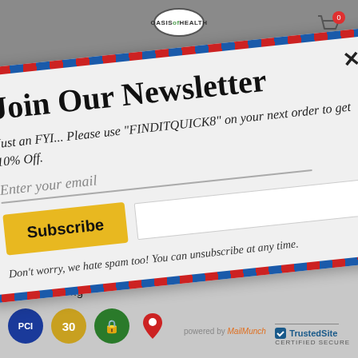[Figure (screenshot): Oasis of Health website header with logo and shopping cart icon showing 0 items]
Join Our Newsletter
Just an FYI... Please use "FINDITQUICK8" on your next order to get 10% Off.
Enter your email
Subscribe
Don't worry, we hate spam too! You can unsubscribe at any time.
(from cu...
Zinc ... 15mg
powered by MailMunch
[Figure (logo): TrustedSite Certified Secure badge]